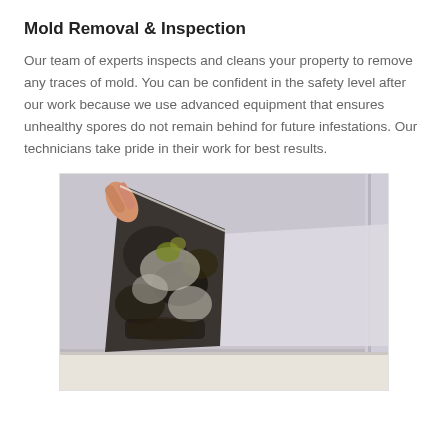Mold Removal & Inspection
Our team of experts inspects and cleans your property to remove any traces of mold. You can be confident in the safety level after our work because we use advanced equipment that ensures unhealthy spores do not remain behind for future infestations. Our technicians take pride in their work for best results.
[Figure (photo): A person's hand peeling back a piece of wallboard or wallpaper to reveal extensive black and white mold growth underneath, against a light lavender/grey wall, with a white floor visible at the bottom.]